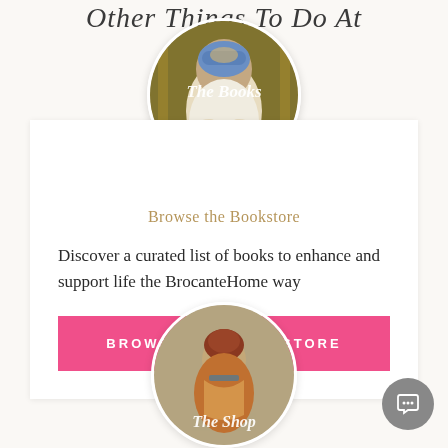Other Things To Do At
[Figure (illustration): Circular cropped vintage painting of a woman reading a book with text overlay 'The Books']
Browse the Bookstore
Discover a curated list of books to enhance and support life the BrocanteHome way
BROWSE THE BOOKSTORE
[Figure (illustration): Circular cropped vintage painting of a woman with text overlay 'The Shop']